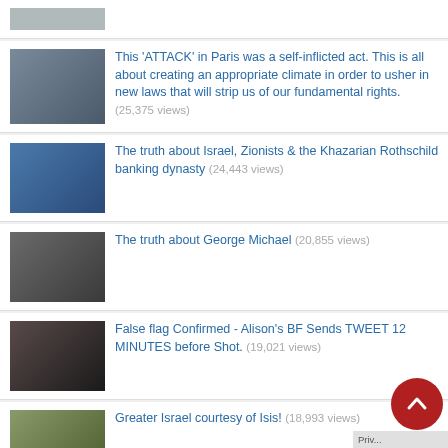[partial thumbnail visible]
This 'ATTACK' in Paris was a self-inflicted act. This is all about creating an appropriate climate in order to usher in new laws that will strip us of our fundamental rights. (25,375 views)
The truth about Israel, Zionists & the Khazarian Rothschild banking dynasty (24,443 views)
The truth about George Michael (20,855 views)
False flag Confirmed - Alison's BF Sends TWEET 12 MINUTES before Shot. (19,021 views)
Greater Israel courtesy of Isis! (18,993 views)
Ballot counting computers only register REMAIN votes. I told you they cheated. Now I'll explain w... (17,602 views)